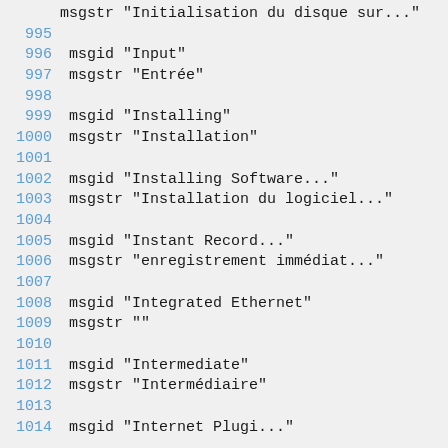msgstr "Initialisation du disque sur..."
 995
 996 msgid "Input"
 997 msgstr "Entrée"
 998
 999 msgid "Installing"
1000 msgstr "Installation"
1001
1002 msgid "Installing Software..."
1003 msgstr "Installation du logiciel..."
1004
1005 msgid "Instant Record..."
1006 msgstr "enregistrement immédiat..."
1007
1008 msgid "Integrated Ethernet"
1009 msgstr ""
1010
1011 msgid "Intermediate"
1012 msgstr "Intermédiaire"
1013
1014 msgid "Internet Plugi..."